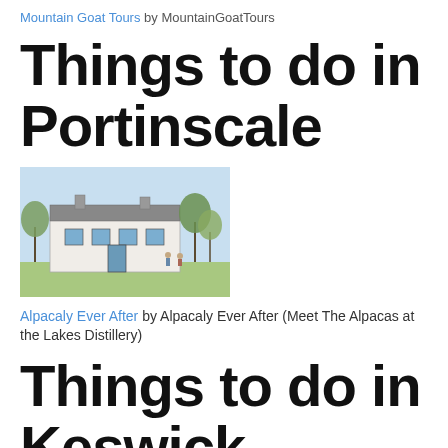Mountain Goat Tours by MountainGoatTours
Things to do in Portinscale
[Figure (illustration): Illustrated sketch of a white building with blue-framed windows, trees, and figures in the foreground, resembling the Lakes Distillery.]
Alpacaly Ever After by Alpacaly Ever After (Meet The Alpacas at the Lakes Distillery)
Things to do in Keswick